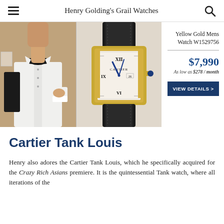Henry Golding's Grail Watches
[Figure (photo): Henry Golding in tuxedo adjusting cufflinks]
[Figure (photo): Cartier Tank Louis Yellow Gold watch W1529756 with black strap]
Yellow Gold Mens Watch W1529756
$7,990
As low as $278 / month
VIEW DETAILS >
Cartier Tank Louis
Henry also adores the Cartier Tank Louis, which he specifically acquired for the Crazy Rich Asians premiere. It is the quintessential Tank watch, where all iterations of the